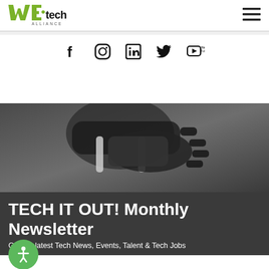WE·tech ALLIANCE
[Figure (logo): WE·tech Alliance logo with green stylized W and E letters, dot, 'tech' in black, 'ALLIANCE' below in small caps]
[Figure (other): Hamburger menu icon (three horizontal lines)]
[Figure (other): Social media icons row: Facebook, Instagram, LinkedIn, Twitter, YouTube]
[Figure (photo): Robotic mechanical hand/arm in dark gray tones, close-up photograph]
TECH IT OUT! Monthly Newsletter
Get the latest Tech News, Events, Talent & Tech Jobs